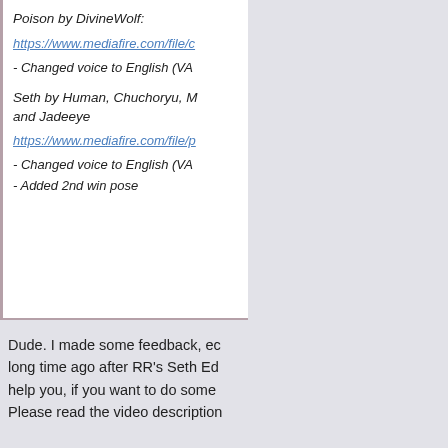[Figure (photo): Avatar image of a character with green spiky hair against a black background]
★★★★ (one purple star, three gold stars)
Gaming Content Creator
Nobody Exists
[Figure (infographic): Row of social media icons: Bangladesh flag, question mark, Twitter bird, YouTube play button]
Poison by DivineWolf:
https://www.mediafire.com/file/c
- Changed voice to English (VA
Seth by Human, Chuchoryu, M and Jadeeye
https://www.mediafire.com/file/p
- Changed voice to English (VA
- Added 2nd win pose
Dude. I made some feedback, ec long time ago after RR's Seth Ed help you, if you want to do some Please read the video description